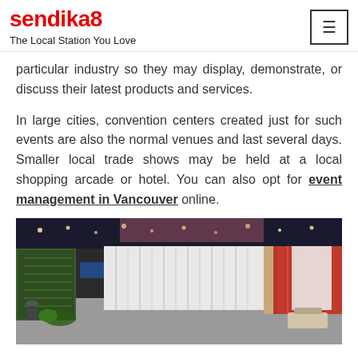sendika8 — The Local Station You Love
particular industry so they may display, demonstrate, or discuss their latest products and services.
In large cities, convention centers created just for such events are also the normal venues and last several days. Smaller local trade shows may be held at a local shopping arcade or hotel. You can also opt for event management in Vancouver online.
[Figure (photo): Interior of a large convention center with trade show booths, white and red draping curtains, green plant wall, and expo hall lighting.]